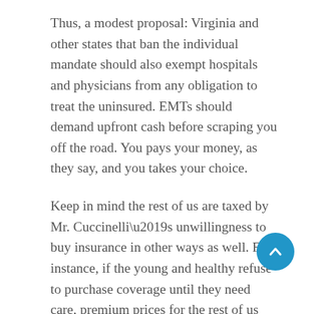Thus, a modest proposal: Virginia and other states that ban the individual mandate should also exempt hospitals and physicians from any obligation to treat the uninsured. EMTs should demand upfront cash before scraping you off the road. You pays your money, as they say, and you takes your choice.
Keep in mind the rest of us are taxed by Mr. Cuccinelli’s unwillingness to buy insurance in other ways as well. For instance, if the young and healthy refuse to purchase coverage until they need care, premium prices for the rest of us rise. In that world, I will, in fact, be paying a tax on your refusal to buy insurance. Under the new law, you pay the tax. That, it seems to me, is how the incentive ought to work.
Finally, I can’t help but wonder if states barring the...